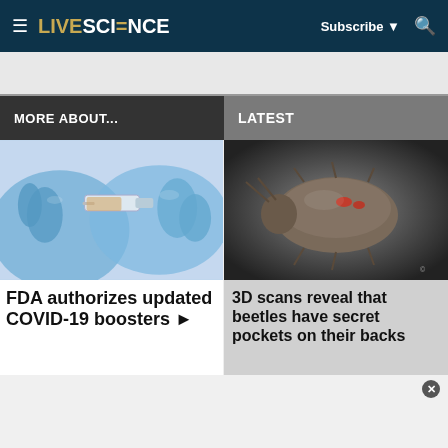LIVESCIENCE — Subscribe — Search
MORE ABOUT...
LATEST
[Figure (photo): Blue-gloved hands holding a medical syringe/vaccine vial]
FDA authorizes updated COVID-19 boosters ▶
[Figure (photo): 3D scan of a beetle shown in profile against a dark gradient background, with small red highlighted areas on its back]
3D scans reveal that beetles have secret pockets on their backs